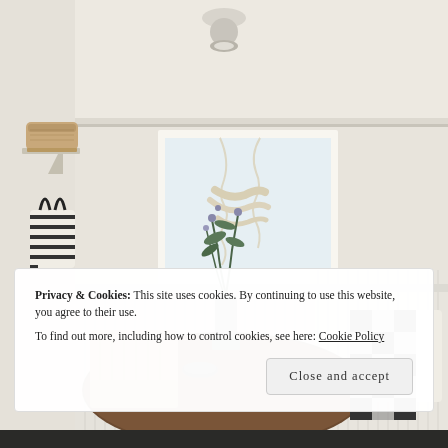[Figure (photo): Interior photo of a bright farmhouse-style kitchen nook with white beadboard wainscoting, a round wooden dining table, rattan chairs, a black gingham pillow on a bench seat, a ceramic vase with eucalyptus branches, a draped linen Roman shade over a white-framed window, a shelf with wicker baskets, and a black and white striped tote bag hanging on the wall. A flush-mount light fixture is visible on the ceiling.]
Privacy & Cookies: This site uses cookies. By continuing to use this website, you agree to their use.
To find out more, including how to control cookies, see here: Cookie Policy
Close and accept